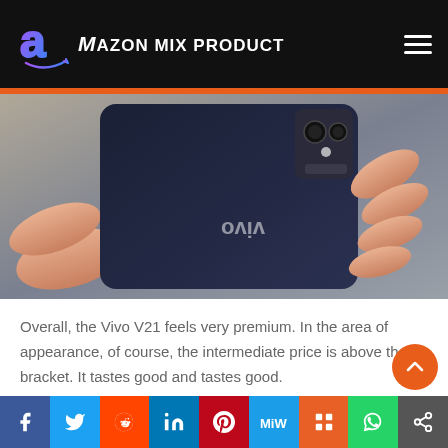Amazon Mix Product
[Figure (photo): Hands holding a Vivo smartphone showing its dark blue back with Vivo logo and camera module]
Overall, the Vivo V21 feels very premium. In the area of appearance, of course, the intermediate price is above the bracket. It tastes good and tastes good.
As far as we can see, both the rear and center
Social share icons: Facebook, Twitter, Reddit, LinkedIn, Pinterest, MeWe, Mix, WhatsApp, Share